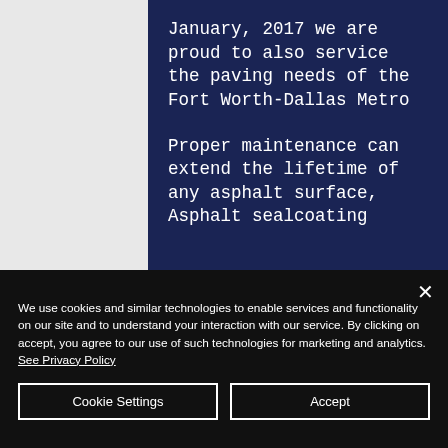January, 2017 we are proud to also service the paving needs of the Fort Worth-Dallas Metro
Proper maintenance can extend the lifetime of any asphalt surface, Asphalt sealcoating
We use cookies and similar technologies to enable services and functionality on our site and to understand your interaction with our service. By clicking on accept, you agree to our use of such technologies for marketing and analytics. See Privacy Policy